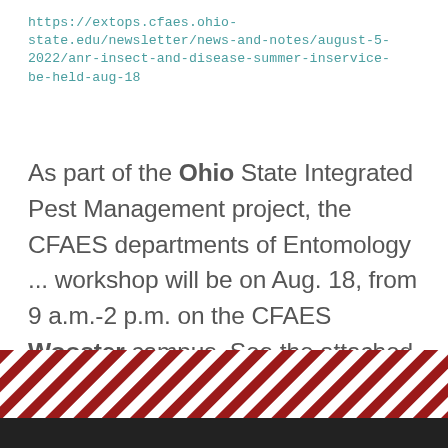https://extops.cfaes.ohio-state.edu/newsletter/news-and-notes/august-5-2022/anr-insect-and-disease-summer-inservice-be-held-aug-18
As part of the Ohio State Integrated Pest Management project, the CFAES departments of Entomology ... workshop will be on Aug. 18, from 9 a.m.-2 p.m. on the CFAES Wooster campus. See the attached flyer for ...
1 2 3 4 5 6 7 8 9 …next › last »